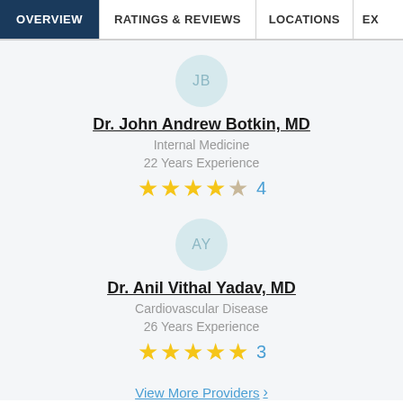OVERVIEW | RATINGS & REVIEWS | LOCATIONS | EX
[Figure (other): Avatar circle with initials JB for Dr. John Andrew Botkin]
Dr. John Andrew Botkin, MD
Internal Medicine
22 Years Experience
[Figure (other): 4-star rating with partial 5th star, review count: 4]
[Figure (other): Avatar circle with initials AY for Dr. Anil Vithal Yadav]
Dr. Anil Vithal Yadav, MD
Cardiovascular Disease
26 Years Experience
[Figure (other): 5-star rating, review count: 3]
View More Providers >